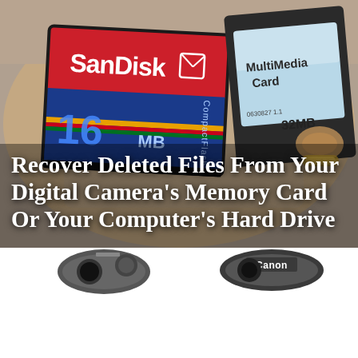[Figure (photo): Close-up photograph of a hand holding a SanDisk 16MB CompactFlash memory card and a 32MB MultiMediaCard against a blurred background. The SanDisk card is red, blue, and has a rainbow stripe design. The MultiMediaCard is dark/black with a light blue screen-printed label.]
Recover Deleted Files From Your Digital Camera's Memory Card Or Your Computer's Hard Drive
[Figure (photo): Partial view of two digital cameras on a white background — left camera is dark grey/black body visible from top, right camera shows Canon branding on the top plate.]